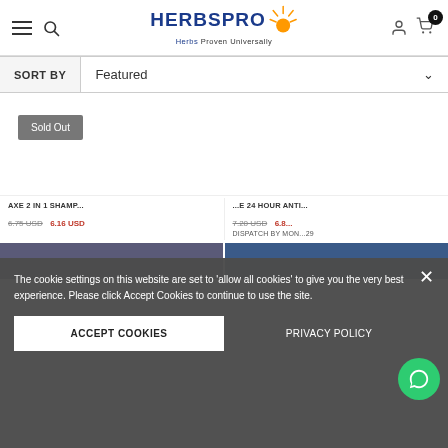HERBSPRO - Herbs Proven Universally
SORT BY  Featured
Sold Out
AXE 2 IN 1 SHAMP...  6.75 USD  6.16 USD
...E 24 HOUR ANTI...  7.20 USD  6.8...
DISPATCH BY MON...29
The cookie settings on this website are set to 'allow all cookies' to give you the very best experience. Please click Accept Cookies to continue to use the site.
ACCEPT COOKIES
PRIVACY POLICY